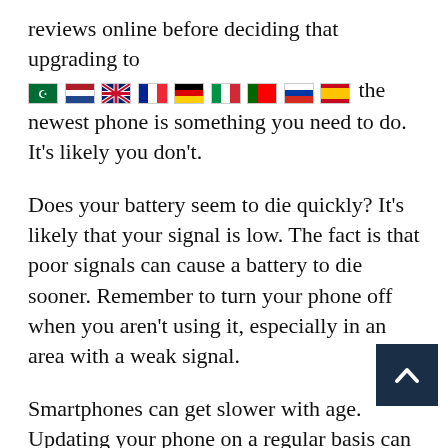reviews online before deciding that upgrading to the newest phone is something you need to do. It's likely you don't.
Does your battery seem to die quickly? It's likely that your signal is low. The fact is that poor signals can cause a battery to die sooner. Remember to turn your phone off when you aren't using it, especially in an area with a weak signal.
Smartphones can get slower with age. Updating your phone on a regular basis can keep it from becoming obsolete. Unfortunately, as new phones come out, the updates are more powerful. That means your old phone might not be capable of handling these upgrades.
Be wary when it comes to extended warranty protection. There are many extra costs that you
[Figure (other): Back to top button — dark navy square with a white upward-pointing chevron/arrow in the center]